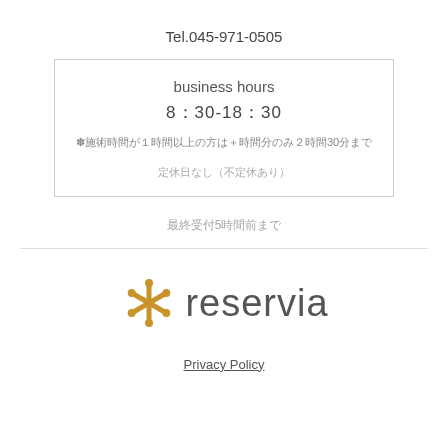Tel.045-971-0505
| business hours |
| 8：30-18：30 |
| ✽施術時間が１時間以上の方は+時間分のみ２時間30分まで |
| 定休日なし（不定休あり） |
最終受付5時間前まで
[Figure (logo): Reservia logo with gold asterisk/star icon and grey text 'reservia']
Privacy Policy